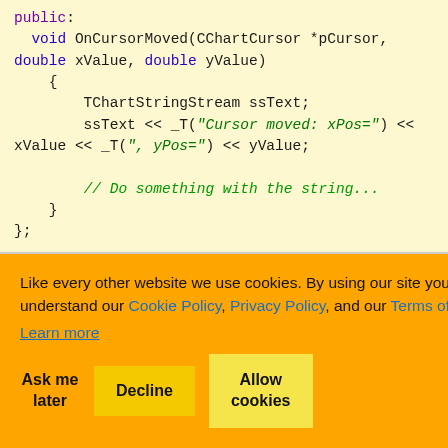[Figure (screenshot): Code snippet showing C++ class with OnCursorMoved method on a light yellow background]
[Figure (screenshot): Cookie consent overlay in orange on top of partially visible code content and body text about X and Y values]